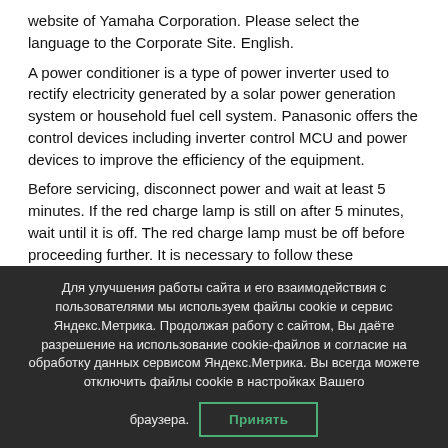website of Yamaha Corporation. Please select the language to the Corporate Site. English.
A power conditioner is a type of power inverter used to rectify electricity generated by a solar power generation system or household fuel cell system. Panasonic offers the control devices including inverter control MCU and power devices to improve the efficiency of the equipment.
Before servicing, disconnect power and wait at least 5 minutes. If the red charge lamp is still on after 5 minutes, wait until it is off. The red charge lamp must be off before proceeding further. It is necessary to follow these precautions because dangerous
Для улучшения работы сайта и его взаимодействия с пользователями мы используем файлы cookie и сервис Яндекс.Метрика. Продолжая работу с сайтом, Вы даёте разрешение на использование cookie-файлов и согласие на обработку данных сервисом Яндекс.Метрика. Вы всегда можете отключить файлы cookie в настройках Вашего браузера. Принять